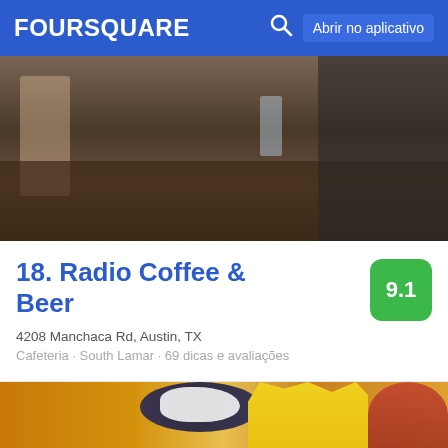FOURSQUARE   Abrir no aplicativo
[Figure (photo): Interior of Radio Coffee & Beer showing patrons seated at tables in a dimly lit cafe environment]
18. Radio Coffee & Beer
4208 Manchaca Rd, Austin, TX
Cafeteria · South Lamar · 69 dicas e avaliações
[Figure (photo): Close-up of a breakfast plate with French toast topped with whipped cream and blueberries, scrambled eggs, and sliced meat]